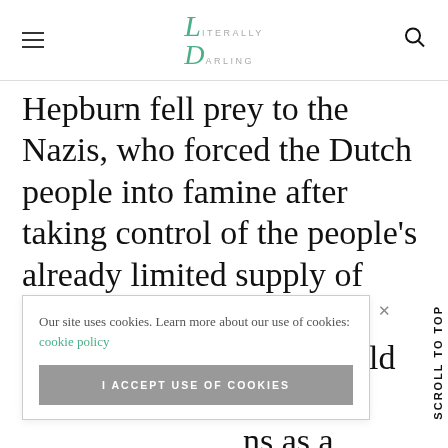Literally Darling (logo)
Hepburn fell prey to the Nazis, who forced the Dutch people into famine after taking control of the people's already limited supply of food and water. Life was difficult for the 15-year-old Audrey, who [partially obscured] ns as a [partially obscured] r son, [partially obscured] e told us
Our site uses cookies. Learn more about our use of cookies: cookie policy
I ACCEPT USE OF COOKIES
Scroll To Top